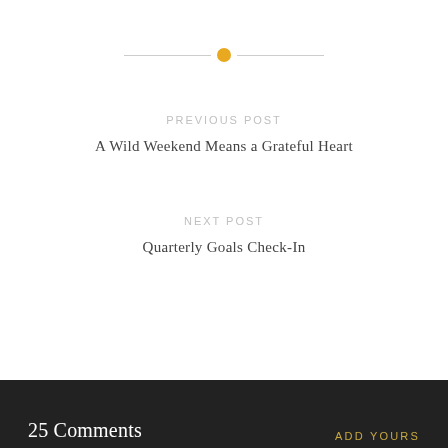[Figure (other): Decorative horizontal divider with a golden/amber dot in the center and thin gray lines extending to each side]
PREVIOUS POST
A Wild Weekend Means a Grateful Heart
NEXT POST
Quarterly Goals Check-In
25 Comments   ADD YOURS